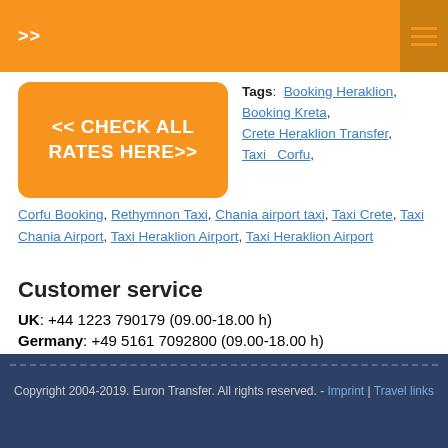>>
[Figure (other): Orange button: << CHECK ALL RATES HERE>>]
Tags: Booking Heraklion, Booking Kreta, Crete Heraklion Transfer, Taxi Corfu, Corfu Booking, Rethymnon Taxi, Chania airport taxi, Taxi Crete, Taxi Chania Airport, Taxi Heraklion Airport, Taxi Heraklion Airport
Customer service
UK: +44 1223 790179 (09.00-18.00 h)
Germany: +49 5161 7092800 (09.00-18.00 h)
Copyright 2004-2019. Euron Transfer. All rights reserved. - Imprint | Travel links